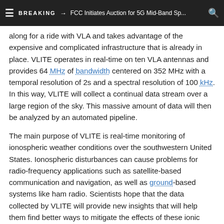BREAKING → FCC Initiates Auction for 5G Mid-Band Sp...
along for a ride with VLA and takes advantage of the expensive and complicated infrastructure that is already in place. VLITE operates in real-time on ten VLA antennas and provides 64 MHz of bandwidth centered on 352 MHz with a temporal resolution of 2s and a spectral resolution of 100 kHz. In this way, VLITE will collect a continual data stream over a large region of the sky. This massive amount of data will then be analyzed by an automated pipeline.
The main purpose of VLITE is real-time monitoring of ionospheric weather conditions over the southwestern United States. Ionospheric disturbances can cause problems for radio-frequency applications such as satellite-based communication and navigation, as well as ground-based systems like ham radio. Scientists hope that the data collected by VLITE will provide new insights that will help them find better ways to mitigate the effects of these ionic ripples.
[Figure (other): Creative Commons license icon]
Source: Naval Research Laboratory | Photo by diana_robinson